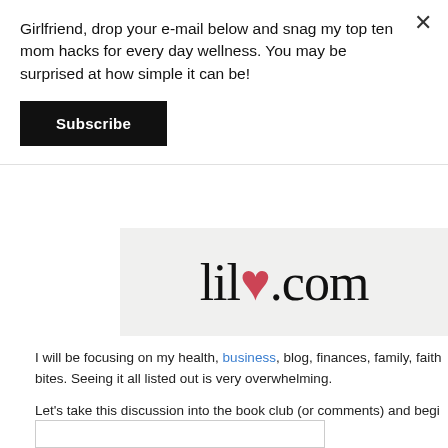Girlfriend, drop your e-mail below and snag my top ten mom hacks for every day wellness. You may be surprised at how simple it can be!
Subscribe
[Figure (logo): Partial logo showing 'lile.com' in thin serif font with a small pink/red heart dot accent]
I will be focusing on my health, business, blog, finances, family, faith bites. Seeing it all listed out is very overwhelming.
Let's take this discussion into the book club (or comments) and begi accountable. Deal?
JOIN US IN THE BOO >>> FACEBOO